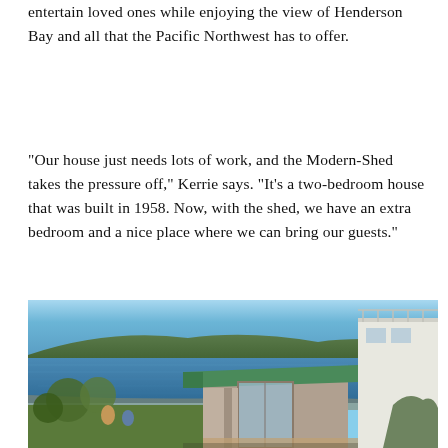entertain loved ones while enjoying the view of Henderson Bay and all that the Pacific Northwest has to offer.
"Our house just needs lots of work, and the Modern-Shed takes the pressure off," Kerrie says. "It's a two-bedroom house that was built in 1958. Now, with the shed, we have an extra bedroom and a nice place where we can bring our guests."
[Figure (photo): Exterior photo of a Modern-Shed structure with a green flat roof and glass sliding door, set against a scenic view of Henderson Bay with blue water and tree-covered hills in the background. A larger white building is visible to the right.]